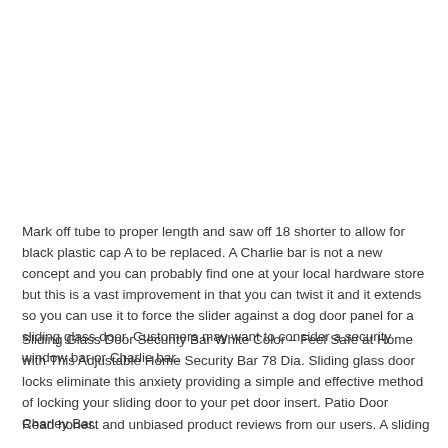Mark off tube to proper length and saw off 18 shorter to allow for black plastic cap A to be replaced. A Charlie bar is not a new concept and you can probably find one at your local hardware store but this is a vast improvement in that you can twist it and it extends so you can use it to force the slider against a dog door panel for a sliding glass door. Customers may want to consider a security window bar or Charlie bar.
Sliding Glass Door Security Bar White Color – Feel Safe at Home with This Adjustable Home Security Bar 78 Dia. Sliding glass door locks eliminate this anxiety providing a simple and effective method of locking your sliding door to your pet door insert. Patio Door Charley Bar.
Read honest and unbiased product reviews from our users. A sliding